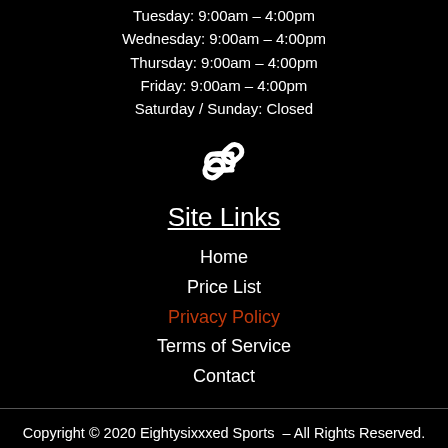Tuesday: 9:00am – 4:00pm
Wednesday: 9:00am – 4:00pm
Thursday: 9:00am – 4:00pm
Friday: 9:00am – 4:00pm
Saturday / Sunday: Closed
[Figure (illustration): Chain link icon in white]
Site Links
Home
Price List
Privacy Policy
Terms of Service
Contact
Copyright © 2020 Eightysixxxed Sports  – All Rights Reserved.